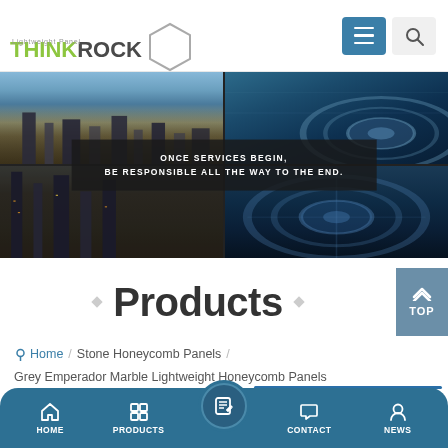[Figure (logo): ThinkRock Lightweight Panel logo with hexagon outline]
[Figure (photo): Hero banner with city skyline and aerial city view collage, with overlay text: ONCE SERVICES BEGIN, BE RESPONSIBLE ALL THE WAY TO THE END.]
Products
Home / Stone Honeycomb Panels / Grey Emperador Marble Lightweight Honeycomb Panels
[Figure (screenshot): Mobile bottom navigation bar with HOME, PRODUCTS, center edit icon, CONTACT, NEWS]